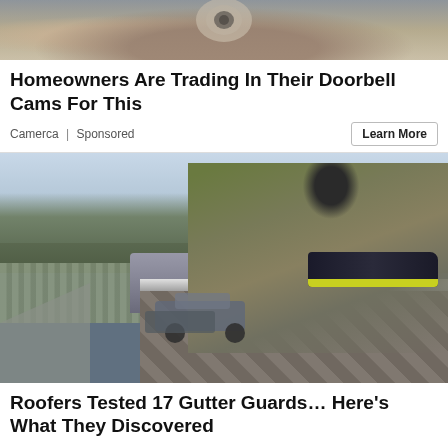[Figure (photo): Close-up image of a doorbell camera mounted on a surface, partially visible at the top of the page]
Homeowners Are Trading In Their Doorbell Cams For This
Camerca | Sponsored
Learn More
[Figure (photo): A person crouching on a roof, working on gutter guards. Suburban neighborhood visible in background with cars parked and trees.]
Roofers Tested 17 Gutter Guards… Here's What They Discovered